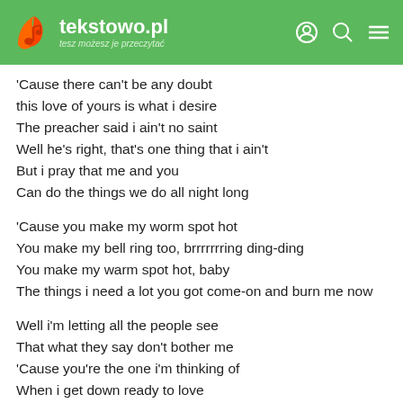tekstowo.pl – tesz możesz je przeczytać
'Cause there can't be any doubt
this love of yours is what i desire
The preacher said i ain't no saint
Well he's right, that's one thing that i ain't
But i pray that me and you
Can do the things we do all night long
'Cause you make my worm spot hot
You make my bell ring too, brrrrrrring ding-ding
You make my warm spot hot, baby
The things i need a lot you got come-on and burn me now
Well i'm letting all the people see
That what they say don't bother me
'Cause you're the one i'm thinking of
When i get down ready to love
You make my worm spot hot
You make my bells rings too,ding-ding
You make my warm spot hot